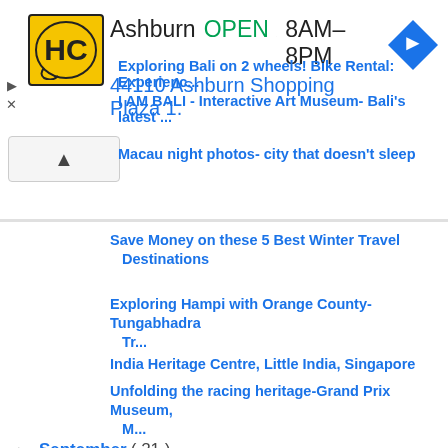[Figure (screenshot): Advertisement banner for a business (HC logo, Ashburn, OPEN 8AM-8PM, 44110 Ashburn Shopping Plaza 1., navigation icon)]
Exploring Bali on 2 wheels! Bike Rental: Experienc...
I AM BALI - Interactive Art Museum- Bali's latest ...
Macau night photos- city that doesn't sleep
Save Money on these 5 Best Winter Travel Destinations
Exploring Hampi with Orange County- Tungabhadra Tr...
India Heritage Centre, Little India, Singapore
Unfolding the racing heritage-Grand Prix Museum, M...
September ( 21 )
August ( 21 )
July ( 35 )
June ( 17 )